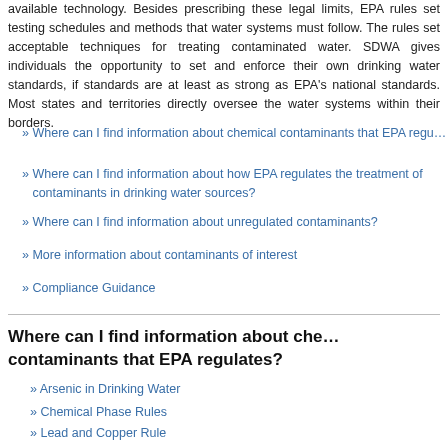available technology. Besides prescribing these legal limits, EPA rules set testing schedules and methods that water systems must follow. The rules set acceptable techniques for treating contaminated water. SDWA gives individuals the opportunity to set and enforce their own drinking water standards, if standards are at least as strong as EPA's national standards. Most states and territories directly oversee the water systems within their borders.
Where can I find information about chemical contaminants that EPA regulates?
Where can I find information about how EPA regulates the treatment of contaminants in drinking water sources?
Where can I find information about unregulated contaminants?
More information about contaminants of interest
Compliance Guidance
Where can I find information about chemical contaminants that EPA regulates?
Arsenic in Drinking Water
Chemical Phase Rules
Lead and Copper Rule
Contaminants Basic Information
National Primary Drinking Water Regulations